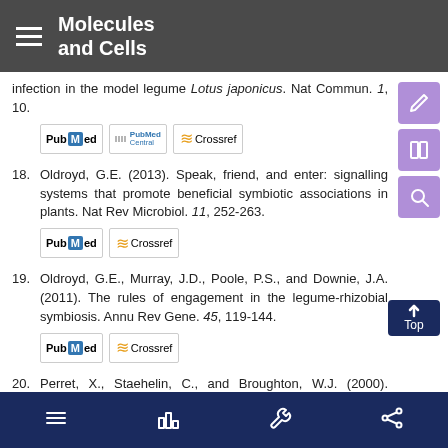Molecules and Cells
infection in the model legume Lotus japonicus. Nat Commun. 1, 10.
18. Oldroyd, G.E. (2013). Speak, friend, and enter: signalling systems that promote beneficial symbiotic associations in plants. Nat Rev Microbiol. 11, 252-263.
19. Oldroyd, G.E., Murray, J.D., Poole, P.S., and Downie, J.A. (2011). The rules of engagement in the legume-rhizobial symbiosis. Annu Rev Gene. 45, 119-144.
20. Perret, X., Staehelin, C., and Broughton, W.J. (2000). Molecular basis of symbiotic promiscuity. Microbiol Mol Biol Rev. 64, 180-201.
Navigation footer